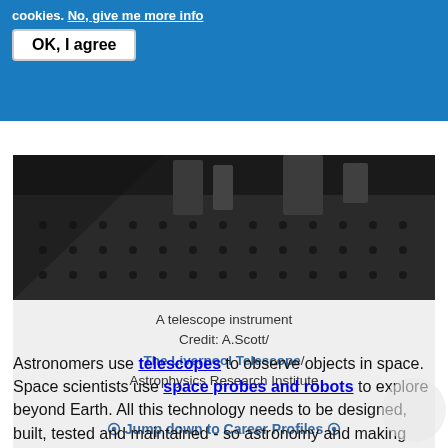cookies. No, give me more info
OK, I agree
[Figure (photo): A dark telescope instrument on an optical table with mount points, photographed from above]
A telescope instrument
Credit: A.Scott/
The Liverpool Telescope/
Astrophysics Research Institute

⊙ Jump down to Career Profiles ⊙
Astronomers use telescopes to observe objects in space. Space scientists use space probes and robots to explore beyond Earth. All this technology needs to be designed, built, tested and maintained - so astronomy and making things go hand-in-hand! If you are interested in